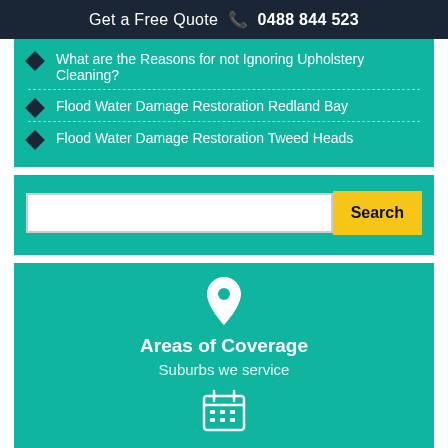Get a Free Quote 📞 0488 844 523
What are the Reasons for not Ignoring Upholstery Cleaning?
Flood Water Damage Restoration Redland Bay
Flood Water Damage Restoration Tweed Heads
Search
Areas of Coverage
Suburbs we service